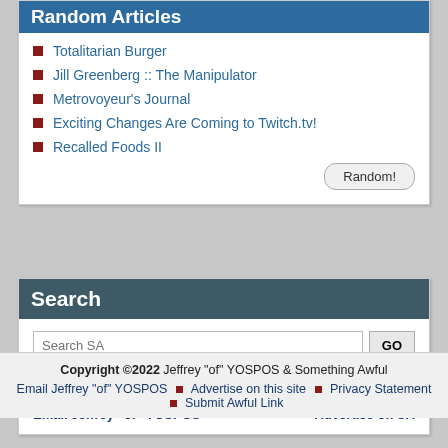Random Articles
Totalitarian Burger
Jill Greenberg :: The Manipulator
Metrovoyeur's Journal
Exciting Changes Are Coming to Twitch.tv!
Recalled Foods II
Search
Search SA | GO
Search Amazon | GO
Email Jeffrey "of" YOSPOS   Advertise on SA
Copyright ©2022 Jeffrey "of" YOSPOS & Something Awful
Email Jeffrey "of" YOSPOS ■ Advertise on this site ■ Privacy Statement ■ Submit Awful Link